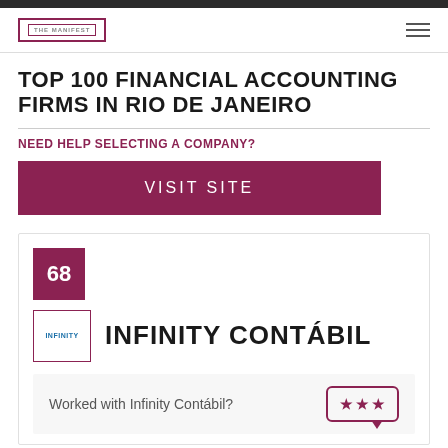THE MANIFEST
TOP 100 FINANCIAL ACCOUNTING FIRMS IN RIO DE JANEIRO
NEED HELP SELECTING A COMPANY?
VISIT SITE
68
[Figure (logo): Infinity Contábil company logo in a crimson-bordered box]
INFINITY CONTÁBIL
Worked with Infinity Contábil?